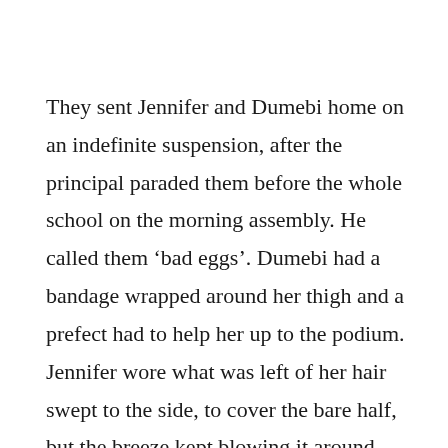They sent Jennifer and Dumebi home on an indefinite suspension, after the principal paraded them before the whole school on the morning assembly. He called them ‘bad eggs’. Dumebi had a bandage wrapped around her thigh and a prefect had to help her up to the podium. Jennifer wore what was left of her hair swept to the side, to cover the bare half, but the breeze kept blowing it around. They both had their eyes fixed on a spot above our heads as they stood in front of us. The principal did not say anything about Vision or her dreams. He said there